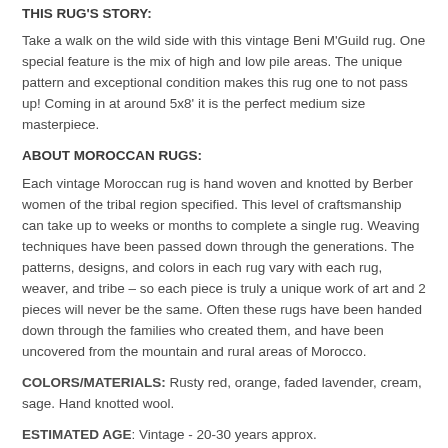THIS RUG'S STORY:
Take a walk on the wild side with this vintage Beni M'Guild rug. One special feature is the mix of high and low pile areas. The unique pattern and exceptional condition makes this rug one to not pass up! Coming in at around 5x8' it is the perfect medium size masterpiece.
ABOUT MOROCCAN RUGS:
Each vintage Moroccan rug is hand woven and knotted by Berber women of the tribal region specified. This level of craftsmanship can take up to weeks or months to complete a single rug. Weaving techniques have been passed down through the generations. The patterns, designs, and colors in each rug vary with each rug, weaver, and tribe – so each piece is truly a unique work of art and 2 pieces will never be the same. Often these rugs have been handed down through the families who created them, and have been uncovered from the mountain and rural areas of Morocco.
COLORS/MATERIALS: Rusty red, orange, faded lavender, cream, sage. Hand knotted wool.
ESTIMATED AGE: Vintage - 20-30 years approx.
SIZE: 59" x 96"